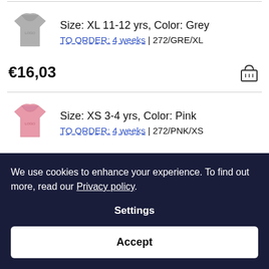[Figure (illustration): Grey t-shirt product image]
Size: XL 11-12 yrs, Color: Grey
TO ORDER: 4 weeks | 272/GRE/XL
€16,03
[Figure (illustration): Pink t-shirt product image]
Size: XS 3-4 yrs, Color: Pink
TO ORDER: 4 weeks | 272/PNK/XS
€16,03
We use cookies to enhance your experience. To find out more, read our Privacy policy.
Settings
Accept